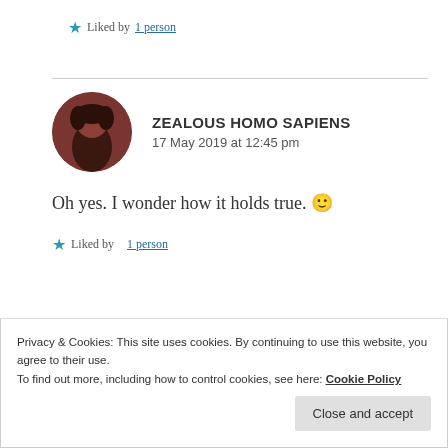★ Liked by 1 person
ZEALOUS HOMO SAPIENS
17 May 2019 at 12:45 pm
Oh yes. I wonder how it holds true. 🙂
★ Liked by 1 person
Privacy & Cookies: This site uses cookies. By continuing to use this website, you agree to their use.
To find out more, including how to control cookies, see here: Cookie Policy